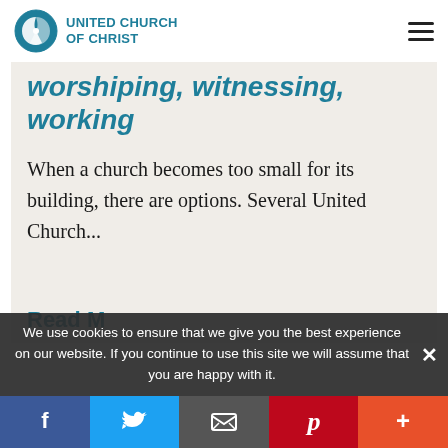United Church of Christ
worshiping, witnessing, working
When a church becomes too small for its building, there are options. Several United Church...
Read M...
We use cookies to ensure that we give you the best experience on our website. If you continue to use this site we will assume that you are happy with it.